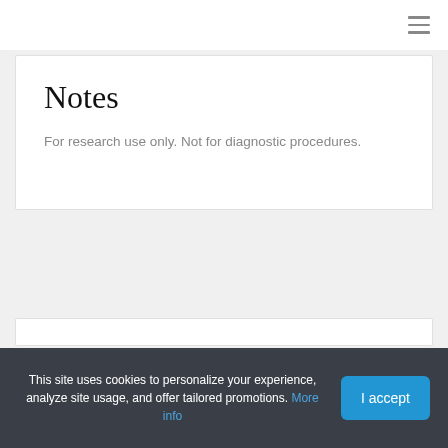≡
Notes
For research use only. Not for diagnostic procedures.
This site uses cookies to personalize your experience, analyze site usage, and offer tailored promotions. More info
I accept